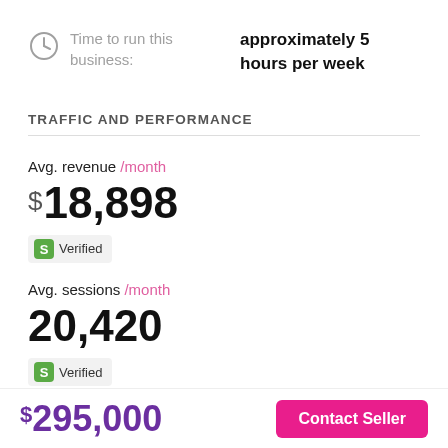Time to run this business: approximately 5 hours per week
TRAFFIC AND PERFORMANCE
Avg. revenue /month
$18,898
Verified
Avg. sessions /month
20,420
Verified
$295,000
Contact Seller